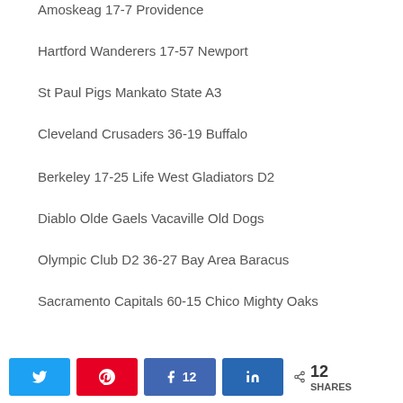Amoskeag 17-7 Providence
Hartford Wanderers 17-57 Newport
St Paul Pigs Mankato State A3
Cleveland Crusaders 36-19 Buffalo
Berkeley 17-25 Life West Gladiators D2
Diablo Olde Gaels Vacaville Old Dogs
Olympic Club D2 36-27 Bay Area Baracus
Sacramento Capitals 60-15 Chico Mighty Oaks